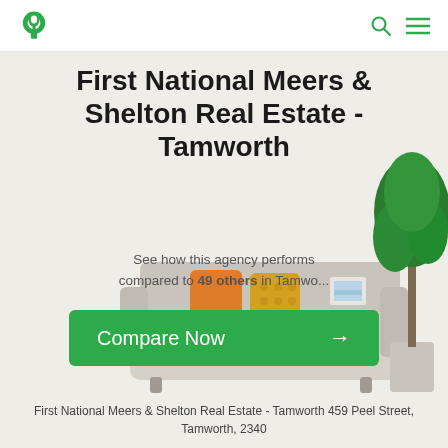First National Meers & Shelton Real Estate - Tamworth
First National Meers & Shelton Real Estate - Tamworth
See how this agency performs compared to 49 others in Tamworth
[Figure (illustration): Green Compare Now button with arrow, sofa and plant background illustration]
First National Meers & Shelton Real Estate - Tamworth 459 Peel Street, Tamworth, 2340